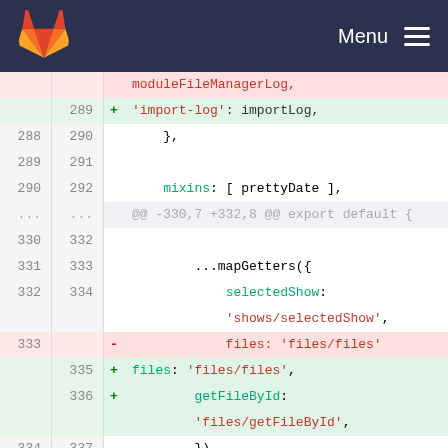GitLab | Menu
[Figure (screenshot): GitLab diff view showing code changes in a JavaScript file with line numbers, deleted and added lines highlighted in red and green respectively.]
moduleFIleManagerLog,
289  +      'import-log': importLog,
288 290      },
289 291
290 292      mixins: [ prettyDate ],
... ...  @@ -330,7 +332,8 @@ export default {
330 332
331 333      ...mapGetters({
332 334          selectedShow:
            'shows/selectedShow',
333    -        files: 'files/files'
    335 +        files: 'files/files',
    336 +        getFileById:
            'files/getFileById',
334 337      })
335 338      },
336 339
... ...  @@ -354,31 +357,20 @@ export default {
354 357      this.$bvModal.show('modal-